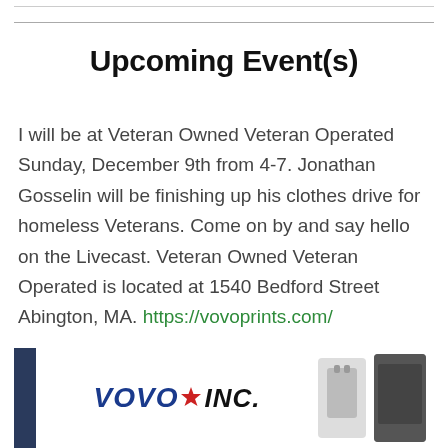Upcoming Event(s)
I will be at Veteran Owned Veteran Operated Sunday, December 9th from 4-7. Jonathan Gosselin will be finishing up his clothes drive for homeless Veterans. Come on by and say hello on the Livecast. Veteran Owned Veteran Operated is located at 1540 Bedford Street Abington, MA. https://vovoprints.com/
[Figure (photo): Photo of VOVO INC. storefront/display with logo banner showing 'VOVO INC.' in bold italic text with a red star, and clothing items visible on the right side.]